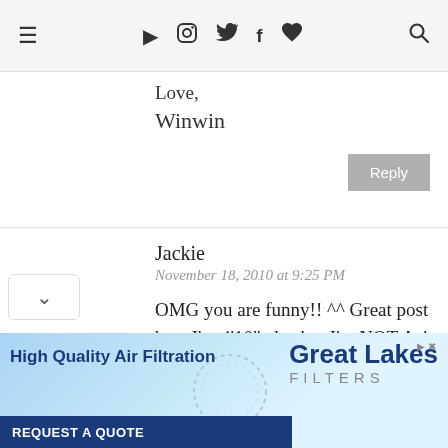≡  ▶ 📷 🐦 f ♥  🔍
Love,
Winwin
Reply
Jackie
November 18, 2010 at 9:25 PM
OMG you are funny!! ^^ Great post btw. I'm 4'10" also but I'm NOT Asian at all lol at least you have an excuse! It's amazing how we have such an
[Figure (infographic): Advertisement banner for Great Lakes Filters: 'High Quality Air Filtration' with REQUEST A QUOTE button and dotted circle logo]